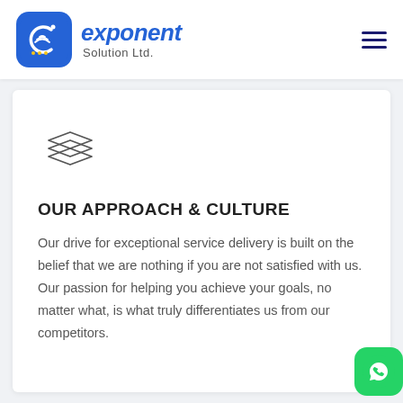[Figure (logo): Exponent Solution Ltd. logo with blue rounded square icon and company name]
[Figure (illustration): Stacked layers / stack icon in outline style]
OUR APPROACH & CULTURE
Our drive for exceptional service delivery is built on the belief that we are nothing if you are not satisfied with us. Our passion for helping you achieve your goals, no matter what, is what truly differentiates us from our competitors.
[Figure (logo): WhatsApp green button icon in bottom right corner]